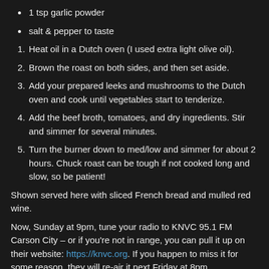1 tsp garlic powder
salt & pepper to taste
1. Heat oil in a Dutch oven (I used extra light olive oil).
2. Brown the roast on both sides, and then set aside.
3. Add your prepared leeks and mushrooms to the Dutch oven and cook until vegetables start to tenderize.
4. Add the beef broth, tomatoes, and dry ingredients. Stir and simmer for several minutes.
5. Turn the burner down to med/low and simmer for about 2 hours. Chuck roast can be tough if not cooked long and slow, so be patient!
Shown served here with sliced French bread and mulled red wine.
Now, Sunday at 9pm, tune your radio to KNVC 95.1 FM Carson City – or if you're not in range, you can pull it up on their website: https://knvc.org. If you happen to miss it for some reason, they will re-air it next Friday at 8pm.
Need to catch up on previous episodes? You can now catch Secrets of Harridge House on https://www.imdb.com! Or go to